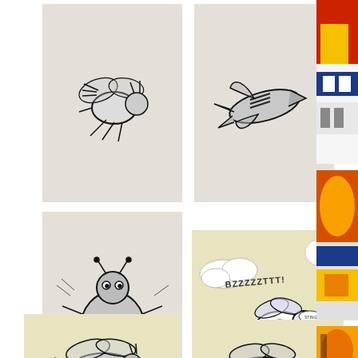[Figure (illustration): Sketch/ink drawing of a bee or flying insect on a beige-gray card, top-left position]
[Figure (illustration): Sketch/ink drawing of a missile or torpedo-like form (insect transformed) on a beige-gray card, top-center position]
[Figure (illustration): Colorful abstract/graphic design strip on the right edge, top portion showing red, yellow, blue shapes and letters]
[Figure (illustration): Ink sketch of a large round-bodied insect (bee/bug) with splaying legs on a gray card, middle-left]
[Figure (illustration): Pop-art style ink drawing of a bee flying through clouds and flowers with text 'BZZZZZTTT!' on a cream card, middle-center]
[Figure (illustration): Colorful graphic strip on right edge, middle portion showing orange, blue, yellow comic-style shapes]
[Figure (illustration): Ink sketch of a bee or insect in flight on a cream card, bottom-left (partially visible)]
[Figure (illustration): Ink sketch of a bee or insect on a cream card, bottom-right (partially visible)]
[Figure (illustration): Colorful graphic strip on right edge, bottom portion with orange insect/character (partially visible)]